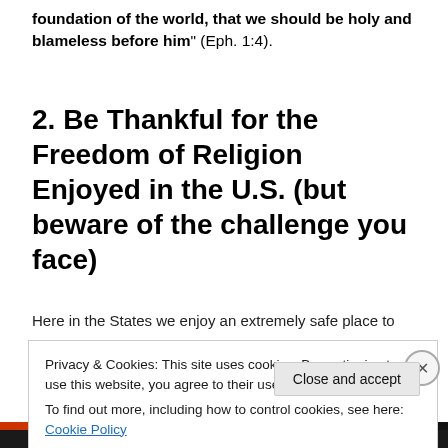foundation of the world, that we should be holy and blameless before him" (Eph. 1:4).
2. Be Thankful for the Freedom of Religion Enjoyed in the U.S. (but beware of the challenge you face)
Here in the States we enjoy an extremely safe place to
Privacy & Cookies: This site uses cookies. By continuing to use this website, you agree to their use.
To find out more, including how to control cookies, see here: Cookie Policy